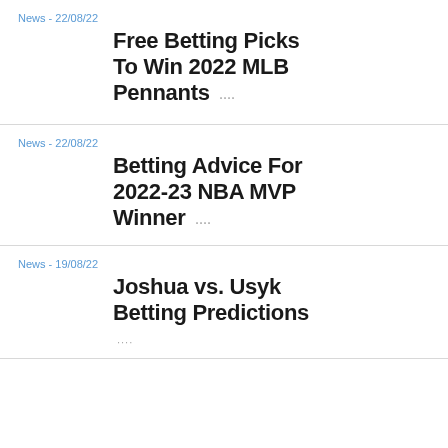News - 22/08/22
Free Betting Picks To Win 2022 MLB Pennants ····
News - 22/08/22
Betting Advice For 2022-23 NBA MVP Winner ····
News - 19/08/22
Joshua vs. Usyk Betting Predictions ····